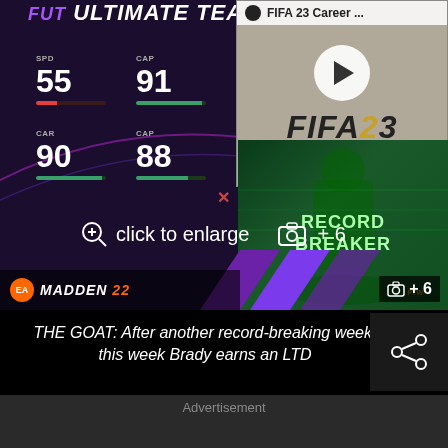[Figure (screenshot): Screenshot of Madden NFL 22 Ultimate Team card showing player stats: SPD 55, CAP 91, ACC 93, MAC 93, CAR 90, CAP 88, MAN 82, CAC 93. A FIFA 23 Career Mode video thumbnail overlaps the top-right corner. A Record Breaker card overlay appears in the lower-right. An 'click to enlarge' and photo count (+6) overlay appears in the center.]
THE GOAT: After another record-breaking week, this week Brady earns an LTD
Advertisement